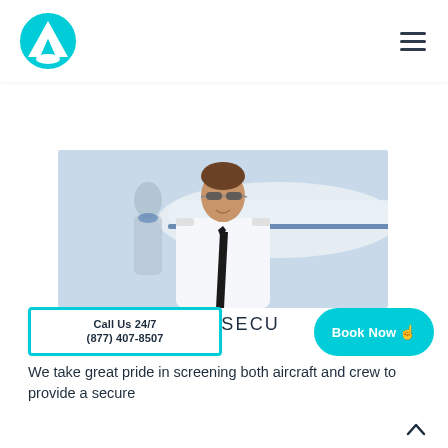[Figure (logo): Circular cyan/light-blue logo with white letter A and triangular mountain shape inside]
[Figure (photo): A smiling male pilot in white uniform with epaulettes and black tie, wearing aviator sunglasses, standing in front of a private jet. A female flight attendant is visible behind him.]
Call Us 24/7
(877) 407-8507
& SECU
Book Now
We take great pride in screening both aircraft and crew to provide a secure